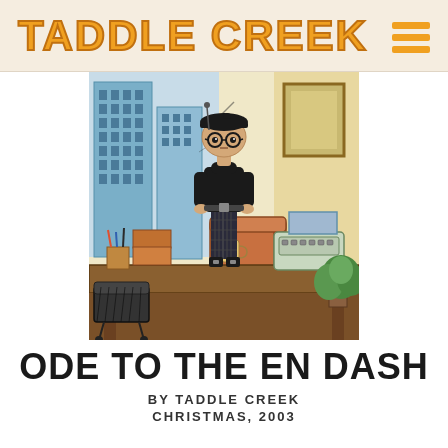TADDLE CREEK
[Figure (illustration): Cartoon illustration of a small stylized person wearing a black beret, round glasses, black turtleneck sweater, and patterned pants, standing on top of a wooden desk in an office setting. Behind the figure is a city skyline with blue buildings visible through a window, an orange armchair, office supplies, boxes, a typewriter, and a potted plant.]
ODE TO THE EN DASH
BY TADDLE CREEK
CHRISTMAS, 2003